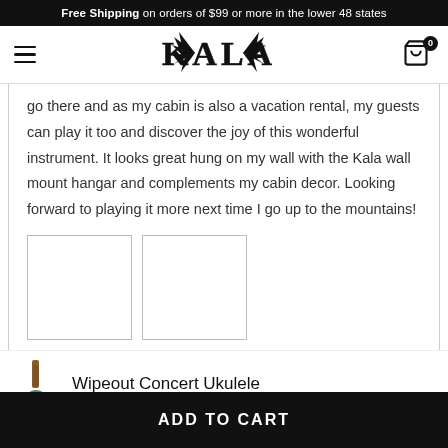Free Shipping on orders of $99 or more in the lower 48 states
[Figure (logo): Kala brand logo with decorative spiked/palm leaf design and bold serif font]
go there and as my cabin is also a vacation rental, my guests can play it too and discover the joy of this wonderful instrument. It looks great hung on my wall with the Kala wall mount hangar and complements my cabin decor. Looking forward to playing it more next time I go up to the mountains!
[Figure (photo): Two small white square photo thumbnails (user review images)]
Wipeout Concert Ukulele
$99.00
ADD TO CART